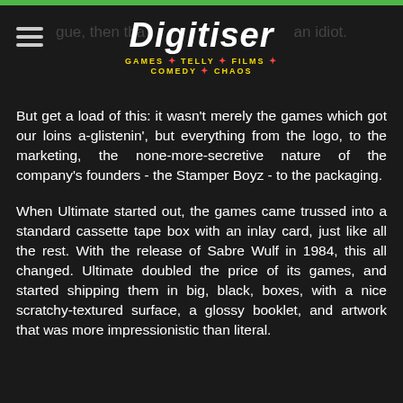Digitiser — GAMES * TELLY * FILMS * COMEDY * CHAOS
But get a load of this: it wasn't merely the games which got our loins a-glistenin', but everything from the logo, to the marketing, the none-more-secretive nature of the company's founders - the Stamper Boyz - to the packaging.
When Ultimate started out, the games came trussed into a standard cassette tape box with an inlay card, just like all the rest. With the release of Sabre Wulf in 1984, this all changed. Ultimate doubled the price of its games, and started shipping them in big, black, boxes, with a nice scratchy-textured surface, a glossy booklet, and artwork that was more impressionistic than literal.